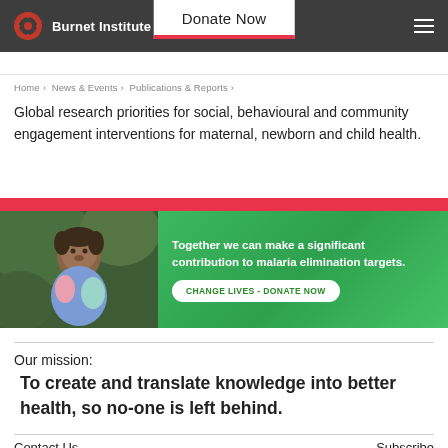Burnet Institute | Donate Now
Home › News & Events › Publications & Reports ›
Global research priorities for social, behavioural and community engagement interventions for maternal, newborn and child health.
[Figure (illustration): Promotional banner with a red strip at top, a photo of a young child on the left, and a green gradient background on the right with text: 'Together we can make a significant contribution to malaria elimination targets.' and a button 'CHANGE LIVES - DONATE NOW']
Our mission:
To create and translate knowledge into better health, so no-one is left behind.
Contact Us
Subscribe